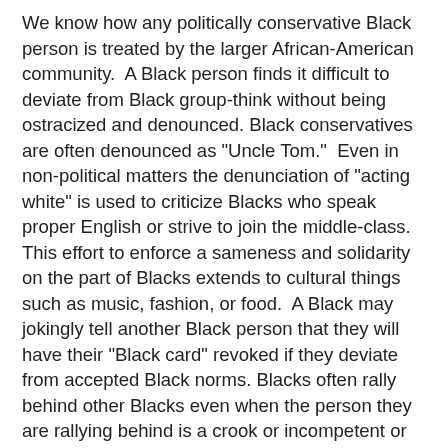We know how any politically conservative Black person is treated by the larger African-American community.  A Black person finds it difficult to deviate from Black group-think without being ostracized and denounced. Black conservatives are often denounced as "Uncle Tom."  Even in non-political matters the denunciation of "acting white" is used to criticize Blacks who speak proper English or strive to join the middle-class.  This effort to enforce a sameness and solidarity on the part of Blacks extends to cultural things such as music, fashion, or food.  A Black may jokingly tell another Black person that they will have their "Black card" revoked if they deviate from accepted Black norms. Blacks often rally behind other Blacks even when the person they are rallying behind is a crook or incompetent or an attention seeking loud mouth.  This factor has been on display in the case of Dr. Shawn Joseph.
Dr. Joseph is incompetent and rules the Metro Public Schools like an autocratic old-style boss.  It is reported that he bullies teachers and intimidates critics. He also displays his privileged position by having a chauffeur to drive him where he needs to go in his School Board provided $55,000